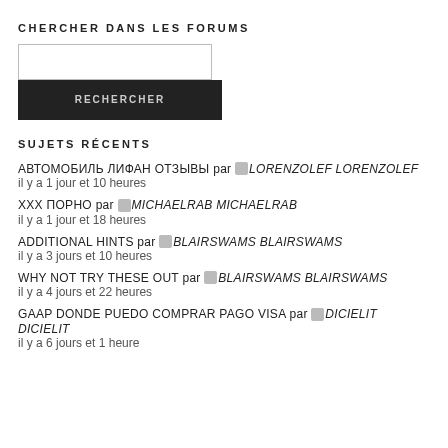CHERCHER DANS LES FORUMS
[Figure (other): Search input box and RECHERCHER button]
SUJETS RÉCENTS
АВТОМОБИЛЬ ЛИФАН ОТЗЫВЫ par LORENZOLEF LORENZOLEF il y a 1 jour et 10 heures
XXX ПОРНО par MICHAELRAB MICHAELRAB il y a 1 jour et 18 heures
ADDITIONAL HINTS par BLAIRSWAMS BLAIRSWAMS il y a 3 jours et 10 heures
WHY NOT TRY THESE OUT par BLAIRSWAMS BLAIRSWAMS il y a 4 jours et 22 heures
GAAP DONDE PUEDO COMPRAR PAGO VISA par DICIELIT DICIELIT il y a 6 jours et 1 heure